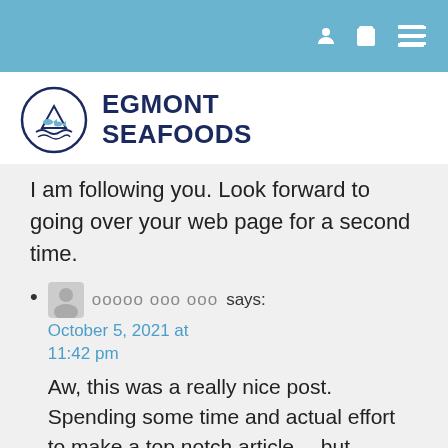Navigation bar with user, cart, and menu icons
[Figure (logo): Egmont Seafoods logo: circular emblem with fish and waves, navy blue text EGMONT SEAFOODS]
I am following you. Look forward to going over your web page for a second time.
ооооо ооо ооо says: October 5, 2021 at 11:42 pm
Aw, this was a really nice post. Spending some time and actual effort to make a top notch article… but